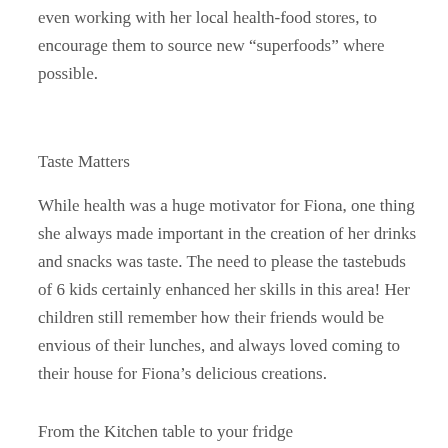even working with her local health-food stores, to encourage them to source new “superfoods” where possible.
Taste Matters
While health was a huge motivator for Fiona, one thing she always made important in the creation of her drinks and snacks was taste. The need to please the tastebuds of 6 kids certainly enhanced her skills in this area! Her children still remember how their friends would be envious of their lunches, and always loved coming to their house for Fiona’s delicious creations.
From the Kitchen table to your fridge